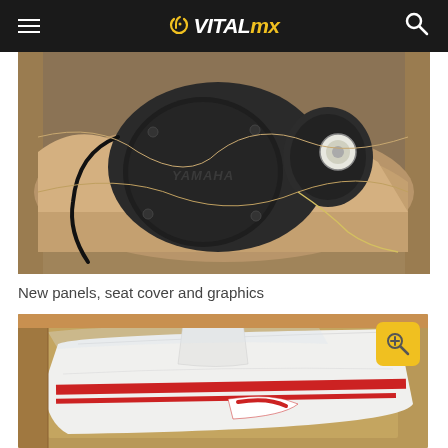VITALMX
[Figure (photo): Yamaha motorcycle engine packed in a cardboard box with brown wrapping paper, showing the engine casing with YAMAHA lettering visible]
New panels, seat cover and graphics
[Figure (photo): White plastic motorcycle body panels in a cardboard box with red trim stripes, partially wrapped in clear plastic, with a zoom/magnify icon overlay in the upper right corner]